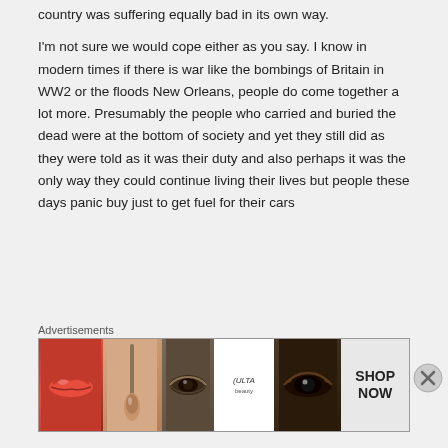country was suffering equally bad in its own way.
I'm not sure we would cope either as you say. I know in modern times if there is war like the bombings of Britain in WW2 or the floods New Orleans, people do come together a lot more. Presumably the people who carried and buried the dead were at the bottom of society and yet they still did as they were told as it was their duty and also perhaps it was the only way they could continue living their lives but people these days panic buy just to get fuel for their cars
Advertisements
[Figure (photo): Advertisement banner showing beauty/makeup images including lips with lipstick, makeup brush, eye with eyeshadow, ULTA beauty logo, dramatic eye makeup, and a SHOP NOW call to action button.]